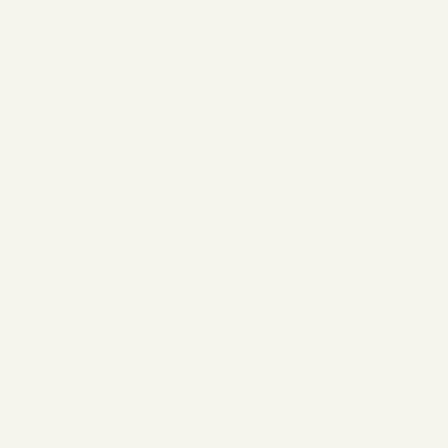| Last Name | First Name(s) |
| --- | --- |
| EASTWOOD | Bru...
Sta... |
| EDGERTON | Ev...
Wil... |
| EDWARDS | Jer...
An... |
| EGAN | Ge...
Ed... |
| EMERSON | Fra...
Ma... |
| EMMERSON | Art...
NM... |